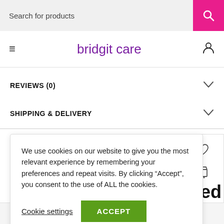Search for products
bridgit care
REVIEWS (0)
SHIPPING & DELIVERY
We use cookies on our website to give you the most relevant experience by remembering your preferences and repeat visits. By clicking “Accept”, you consent to the use of ALL the cookies.
Cookie settings  ACCEPT